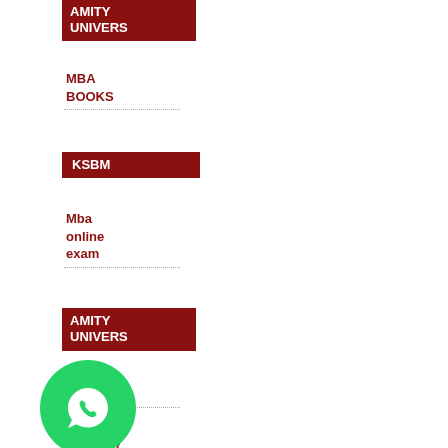[Figure (logo): AMITY UNIVERSITY badge/label in dark red on white background, text clipped]
MBA BOOKS
[Figure (logo): KSBM badge/label in dark red on white background]
Mba online exam
[Figure (logo): AMITY UNIVERSITY badge/label in dark red on white background]
Amity universit
Amity universit
[Figure (logo): WhatsApp contact button, green circle with phone/chat icon]